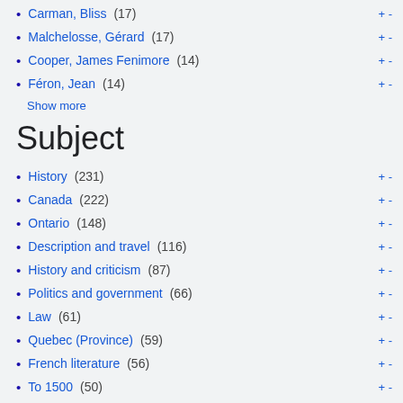Carman, Bliss (17) +-
Malchelosse, Gérard (17) +-
Cooper, James Fenimore (14) +-
Féron, Jean (14) +-
Show more
Subject
History (231) +-
Canada (222) +-
Ontario (148) +-
Description and travel (116) +-
History and criticism (87) +-
Politics and government (66) +-
Law (61) +-
Quebec (Province) (59) +-
French literature (56) +-
To 1500 (50) +-